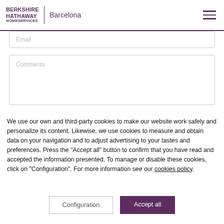BERKSHIRE HATHAWAY HomeServices | Barcelona
Email
Comments
We use our own and third-party cookies to make our website work safely and personalize its content. Likewise, we use cookies to measure and obtain data on your navigation and to adjust advertising to your tastes and preferences. Press the "Accept all" button to confirm that you have read and accepted the information presented. To manage or disable these cookies, click on "Configuration". For more information see our cookies policy.
Configuration
Accept all